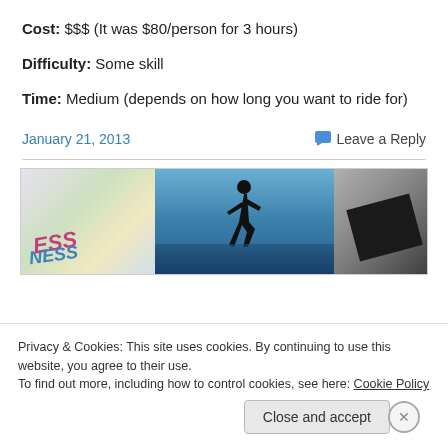Cost: $$$ (It was $80/person for 3 hours)
Difficulty: Some skill
Time: Medium (depends on how long you want to ride for)
January 21, 2013
Leave a Reply
[Figure (photo): Horizontal image strip showing three panels: left panel with colorful word-art/text background, middle panel with a silhouette of a person running/jumping against a blue sky and water reflection, and right panel showing a dark object against a light background.]
Privacy & Cookies: This site uses cookies. By continuing to use this website, you agree to their use.
To find out more, including how to control cookies, see here: Cookie Policy
Close and accept